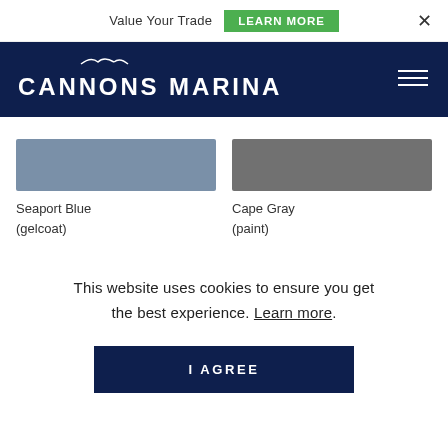Value Your Trade   LEARN MORE
[Figure (logo): Cannons Marina logo with seagull graphic and navigation hamburger menu on dark navy background]
[Figure (other): Two color swatches: Seaport Blue (gelcoat) - a muted steel blue rectangle, and Cape Gray (paint) - a medium gray rectangle]
Seaport Blue
(gelcoat)
Cape Gray
(paint)
This website uses cookies to ensure you get the best experience. Learn more.
I AGREE